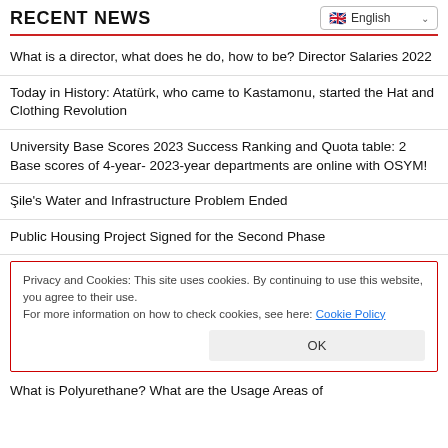RECENT NEWS
What is a director, what does he do, how to be? Director Salaries 2022
Today in History: Atatürk, who came to Kastamonu, started the Hat and Clothing Revolution
University Base Scores 2023 Success Ranking and Quota table: 2 Base scores of 4-year- 2023-year departments are online with OSYM!
Şile's Water and Infrastructure Problem Ended
Public Housing Project Signed for the Second Phase
Privacy and Cookies: This site uses cookies. By continuing to use this website, you agree to their use. For more information on how to check cookies, see here: Cookie Policy
What is Polyurethane? What are the Usage Areas of